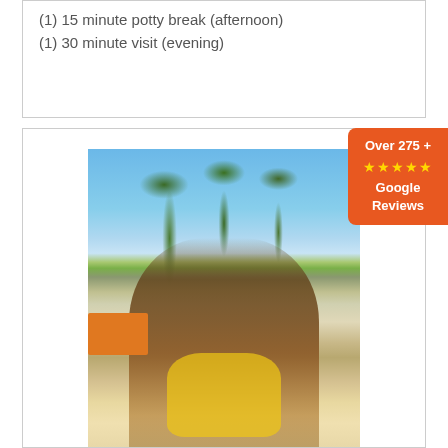(1) 15 minute potty break (afternoon)
(1) 30 minute visit (evening)
[Figure (photo): A bulldog wearing a yellow life vest/harness standing outdoors on a promenade with palm trees, a blue sky, and an orange bus in the background]
Over 275 + ★★★★★ Google Reviews